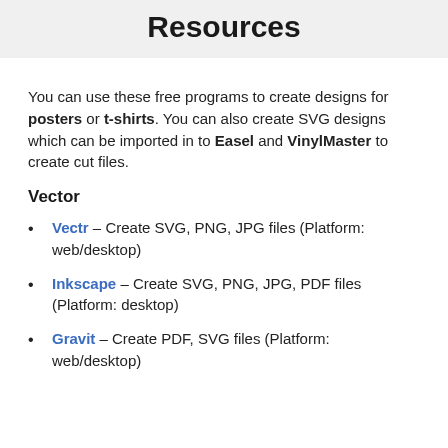Resources
You can use these free programs to create designs for posters or t-shirts. You can also create SVG designs which can be imported in to Easel and VinylMaster to create cut files.
Vector
Vectr – Create SVG, PNG, JPG files (Platform: web/desktop)
Inkscape – Create SVG, PNG, JPG, PDF files (Platform: desktop)
Gravit – Create PDF, SVG files (Platform: web/desktop)